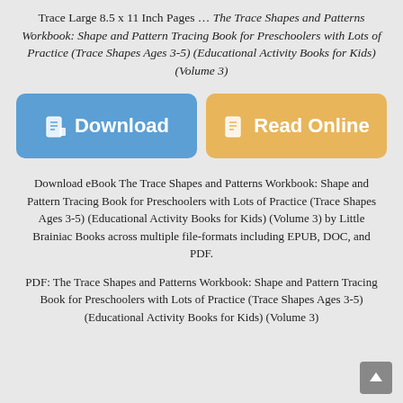Trace Large 8.5 x 11 Inch Pages … The Trace Shapes and Patterns Workbook: Shape and Pattern Tracing Book for Preschoolers with Lots of Practice (Trace Shapes Ages 3-5) (Educational Activity Books for Kids) (Volume 3)
[Figure (other): Two large buttons: a blue 'Download' button and an orange 'Read Online' button, each with a book icon]
Download eBook The Trace Shapes and Patterns Workbook: Shape and Pattern Tracing Book for Preschoolers with Lots of Practice (Trace Shapes Ages 3-5) (Educational Activity Books for Kids) (Volume 3) by Little Brainiac Books across multiple file-formats including EPUB, DOC, and PDF.
PDF: The Trace Shapes and Patterns Workbook: Shape and Pattern Tracing Book for Preschoolers with Lots of Practice (Trace Shapes Ages 3-5) (Educational Activity Books for Kids) (Volume 3)